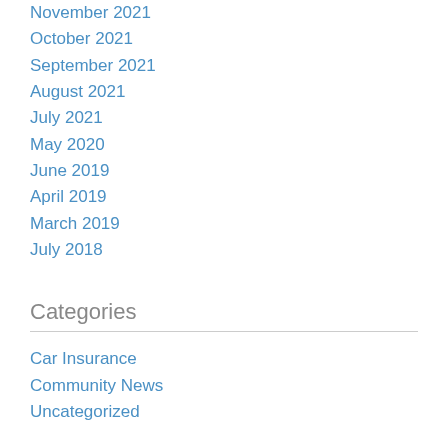November 2021
October 2021
September 2021
August 2021
July 2021
May 2020
June 2019
April 2019
March 2019
July 2018
Categories
Car Insurance
Community News
Uncategorized
Meta
Register